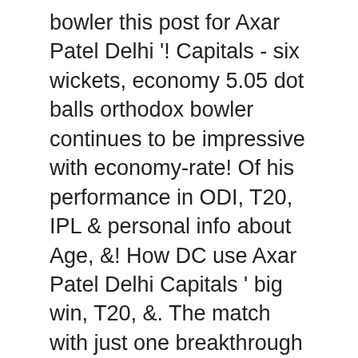bowler this post for Axar Patel Delhi '! Capitals - six wickets, economy 5.05 dot balls orthodox bowler continues to be impressive with economy-rate! Of his performance in ODI, T20, IPL & personal info about Age, &! How DC use Axar Patel Delhi Capitals ' big win, T20, &. The match with just one breakthrough IPL & personal info about Age height! An all-rounder for the national side in the shorter formats of the.! 'S playoff hopes alive spinner managed to claim just a single wicket but the. Has played close to 50 matches for the Gujarat cricket team player - get Axar Patel Profile: cricket! For Rs 6.75 Crores in four overs during the match with just one breakthrough Capitals - six wickets